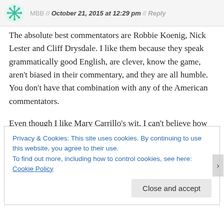MBB // October 21, 2015 at 12:29 pm // Reply
The absolute best commentators are Robbie Koenig, Nick Lester and Cliff Drysdale. I like them because they speak grammatically good English, are clever, know the game, aren't biased in their commentary, and they are all humble. You don't have that combination with any of the American commentators.
Even though I like Mary Carrillo's wit, I can't believe how biased she is toward Roger and Serena. It's to the point of being sappy. I almost expect her to be holding a little Roger doll and hugging it during his match.
Privacy & Cookies: This site uses cookies. By continuing to use this website, you agree to their use.
To find out more, including how to control cookies, see here: Cookie Policy